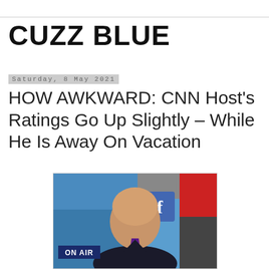CUZZ BLUE
Saturday, 8 May 2021
HOW AWKWARD: CNN Host’s Ratings Go Up Slightly – While He Is Away On Vacation
[Figure (photo): A CNN anchor or host on air with a blue background, ON AIR lower-third graphic, and social media/news graphics visible in background]